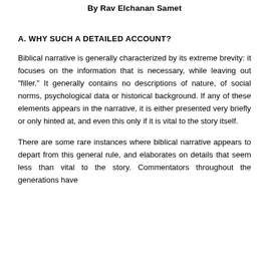By Rav Elchanan Samet
A. WHY SUCH A DETAILED ACCOUNT?
Biblical narrative is generally characterized by its extreme brevity: it focuses on the information that is necessary, while leaving out "filler." It generally contains no descriptions of nature, of social norms, psychological data or historical background. If any of these elements appears in the narrative, it is either presented very briefly or only hinted at, and even this only if it is vital to the story itself.
There are some rare instances where biblical narrative appears to depart from this general rule, and elaborates on details that seem less than vital to the story. Commentators throughout the generations have